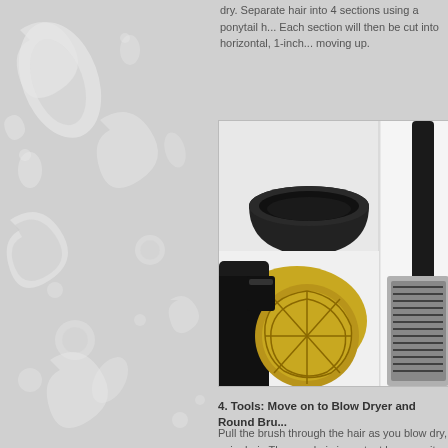dry. Separate hair into 4 sections using a ponytail. Each section will then be cut into horizontal, 1-inch moving up.
[Figure (photo): Photo showing a black diffuser bowl attachment, a black and gold hair dryer seen from the rear/bottom showing the motor intake, and a round barrel brush with black and silver bristles]
4. Tools: Move on to Blow Dryer and Round Bru...
Pull the brush through the hair as you blow dry, poi... hair. The nozzle is important because it directs the... not just the center of the brush. Start at the root a... brush. Once dry, move from the mid-shaft to the en... them; save those for last as they usually only need...